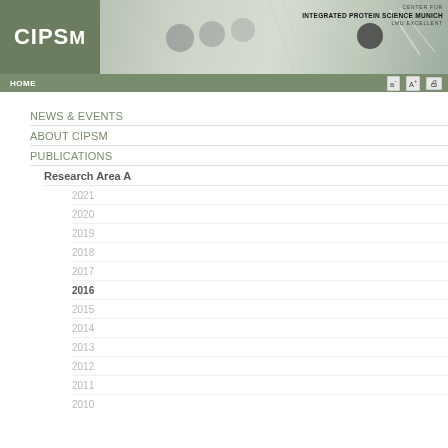[Figure (screenshot): CIPSM website header with logo on left green background, laboratory photo in center, and organization name on right]
HOME
NEWS & EVENTS
ABOUT CIPSM
PUBLICATIONS
Research Area A
2021
2020
2019
2018
2017
2016
2015
2014
2013
2012
2011
2010